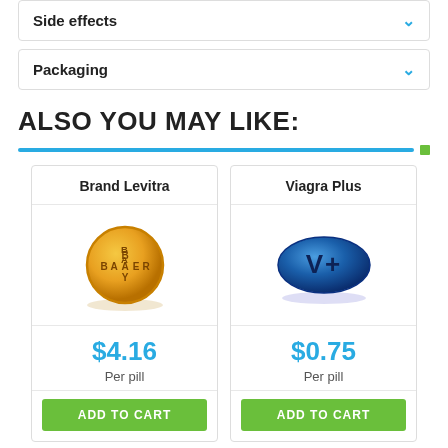Side effects
Packaging
ALSO YOU MAY LIKE:
[Figure (illustration): Brand Levitra pill - golden round tablet with BAYER text, price $4.16 per pill]
[Figure (illustration): Viagra Plus pill - blue oval tablet with V+ text, price $0.75 per pill]
Viagra
Viagra Soft